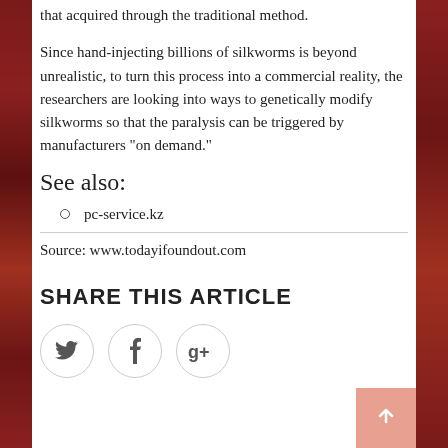that acquired through the traditional method.
Since hand-injecting billions of silkworms is beyond unrealistic, to turn this process into a commercial reality, the researchers are looking into ways to genetically modify silkworms so that the paralysis can be triggered by manufacturers “on demand.”
See also:
pc-service.kz
Source: www.todayifoundout.com
SHARE THIS ARTICLE
[Figure (other): Three social sharing buttons in circles: Twitter bird icon, Facebook f icon, Google+ g+ icon]